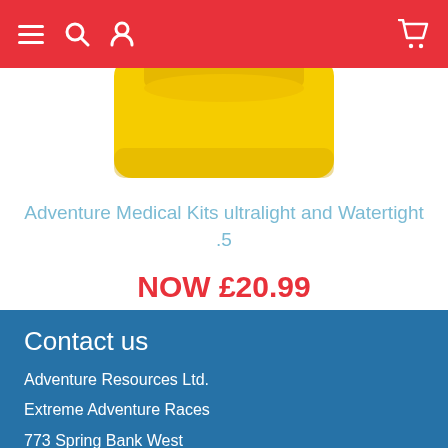Navigation bar with menu, search, user, and cart icons
[Figure (photo): Yellow medical kit bag/pouch, partially visible, cropped at top]
Adventure Medical Kits ultralight and Watertight .5
NOW £20.99
RRP 22.99 | save: 9%
Contact us
Adventure Resources Ltd.
Extreme Adventure Races
773 Spring Bank West